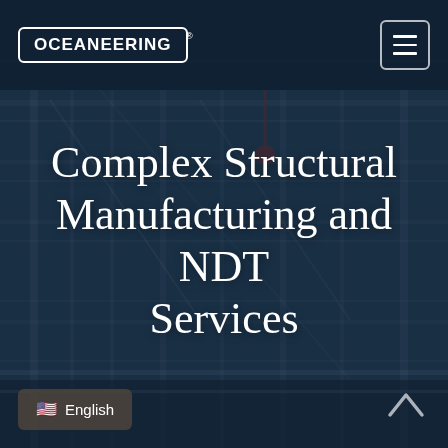[Figure (photo): Industrial structural manufacturing facility background image with scaffolding and equipment, overlaid with a dark navy blue tint]
OCEANEERING® [navigation bar with hamburger menu]
Complex Structural Manufacturing and NDT Services
🇺🇸 English